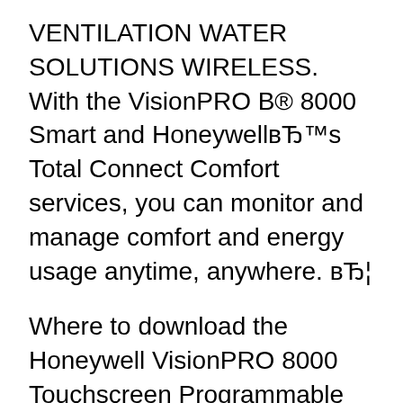VENTILATION WATER SOLUTIONS WIRELESS. With the VisionPRO B® 8000 Smart and HoneywellвЂ™s Total Connect Comfort services, you can monitor and manage comfort and energy usage anytime, anywhere. вЂ¦
Where to download the Honeywell VisionPRO 8000 Touchscreen Programmable Thermostat 8000 PDF manual for free? Tanks and missiles aside, I will bother you with just one last thing which Honeywell made, and that is their user manual directory. Within the /customer field on their website you can find most of the devices which they produced, together with the instructions that come with the product. Based on...